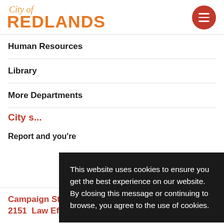[Figure (logo): City of Redlands logo with orange script 'City of' above bold orange 'REDLANDS' text]
Human Resources
Library
More Departments
This website uses cookies to ensure you get the best experience on our website. By closing this message or continuing to browse, you agree to the use of cookies.
City ...
Reports and yours
Campaign Statements and Reports AB 2151  Law Effective January 1, 2021